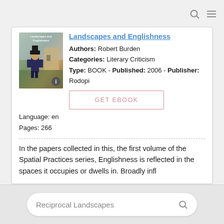[Figure (screenshot): Book listing card showing cover image of a book about Landscapes and Englishness with a soldier figure, along with book metadata and a GET EBOOK button]
Authors: Robert Burden
Categories: Literary Criticism
Type: BOOK - Published: 2006 - Publisher: Rodopi
Language: en
Pages: 266
In the papers collected in this, the first volume of the Spatial Practices series, Englishness is reflected in the spaces it occupies or dwells in. Broadly infl
Reciprocal Landscapes